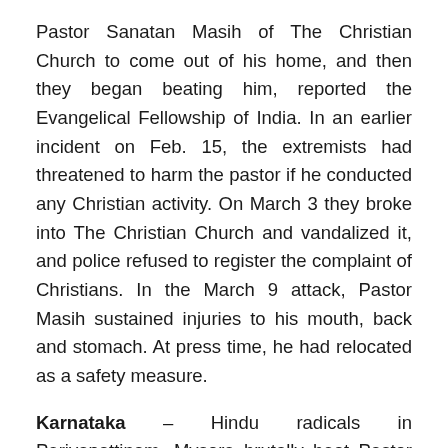Pastor Sanatan Masih of The Christian Church to come out of his home, and then they began beating him, reported the Evangelical Fellowship of India. In an earlier incident on Feb. 15, the extremists had threatened to harm the pastor if he conducted any Christian activity. On March 3 they broke into The Christian Church and vandalized it, and police refused to register the complaint of Christians. In the March 9 attack, Pastor Masih sustained injuries to his mouth, back and stomach. At press time, he had relocated as a safety measure.
Karnataka – Hindu radicals in Periyapattinam, Mysore brutally beat Pastor Ravi Chandran, 30, on March 8. The pastor was leading a prayer service at a house in Banavara village, Periyapattinam at 11:30 a.m. when 10 to 15 Hindu extremists forced their way into the house. They